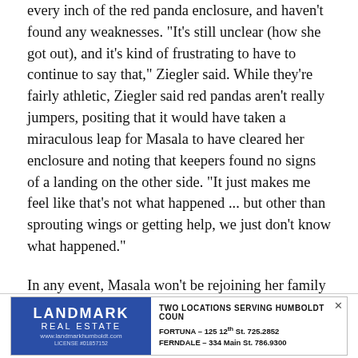every inch of the red panda enclosure, and haven't found any weaknesses. "It's still unclear (how she got out), and it's kind of frustrating to have to continue to say that," Ziegler said. While they're fairly athletic, Ziegler said red pandas aren't really jumpers, positing that it would have taken a miraculous leap for Masala to have cleared her enclosure and noting that keepers found no signs of a landing on the other side. "It just makes me feel like that's not what happened ... but other than sprouting wings or getting help, we just don't know what happened."
In any event, Masala won't be rejoining her family back in the enclosure, Ziegler said, as the adolescent panda has long been scheduled for a move to a zoo in Tennessee. With a pre-transfer quarantine necessary anyway, Ziegler said Masala will...
[Figure (other): Advertisement for Landmark Real Estate with two locations serving Humboldt County. Fortuna – 125 12th St, 725.2852. Ferndale – 334 Main St, 786.9300. Website: www.landmarkhumboldt.com. License #01857152.]